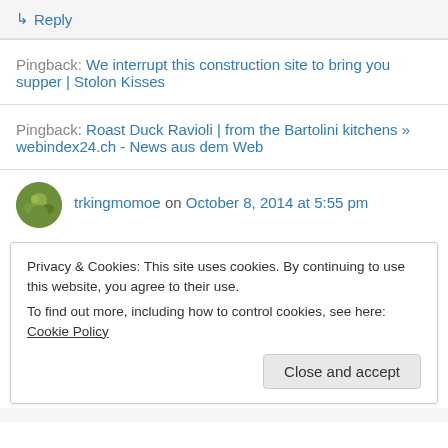↳ Reply
Pingback: We interrupt this construction site to bring you supper | Stolon Kisses
Pingback: Roast Duck Ravioli | from the Bartolini kitchens » webindex24.ch - News aus dem Web
trkingmomoe on October 8, 2014 at 5:55 pm
Privacy & Cookies: This site uses cookies. By continuing to use this website, you agree to their use.
To find out more, including how to control cookies, see here: Cookie Policy
Close and accept